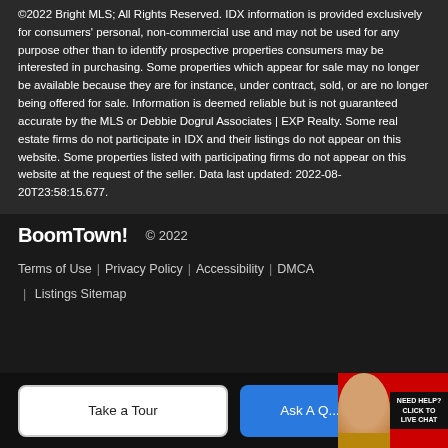©2022 Bright MLS; All Rights Reserved. IDX information is provided exclusively for consumers' personal, non-commercial use and may not be used for any purpose other than to identify prospective properties consumers may be interested in purchasing. Some properties which appear for sale may no longer be available because they are for instance, under contract, sold, or are no longer being offered for sale. Information is deemed reliable but is not guaranteed accurate by the MLS or Debbie Dogrul Associates | EXP Realty. Some real estate firms do not participate in IDX and their listings do not appear on this website. Some properties listed with participating firms do not appear on this website at the request of the seller. Data last updated: 2022-08-20T23:58:15.677.
BoomTown! © 2022 | Terms of Use | Privacy Policy | Accessibility | DMCA | Listings Sitemap
Take a Tour
Ask A Q...
[Figure (other): Live chat widget with agent photo and 'NEED HELP? CLICK TO LIVE CHAT' text on red background]